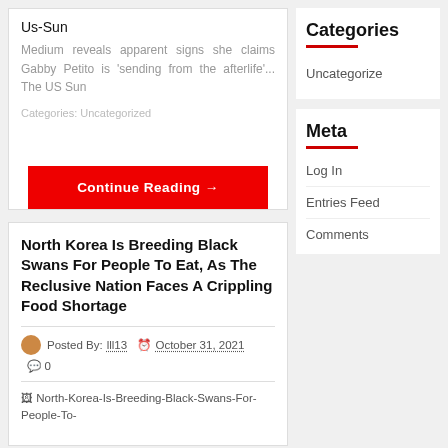Us-Sun
Medium reveals apparent signs she claims Gabby Petito is 'sending from the afterlife'... The US Sun
Categories: Uncategorized
Continue Reading →
Categories
Uncategorized
North Korea Is Breeding Black Swans For People To Eat, As The Reclusive Nation Faces A Crippling Food Shortage
Posted By: lll13 © October 31, 2021 💬 0
[Figure (photo): Broken image placeholder for North-Korea-Is-Breeding-Black-Swans-For-People-To-...]
Meta
Log In
Entries Feed
Comments